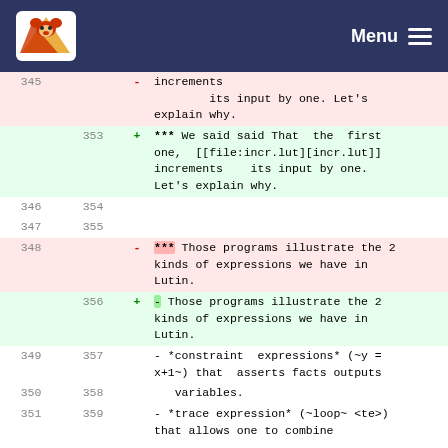Menu
| old | new | sign | content |
| --- | --- | --- | --- |
| 345 |  | - |         its input by one. Let's explain why. |
|  | 353 | + | *** We said said That  the  first one,  [[file:incr.lut][incr.lut]] increments    its input by one. Let's explain why. |
| 346 | 354 |  |  |
| 347 | 355 |  |  |
| 348 |  | - | *** Those programs illustrate the 2 kinds of expressions we have in Lutin. |
|  | 356 | + | - Those programs illustrate the 2 kinds of expressions we have in Lutin. |
| 349 | 357 |  | - *constraint  expressions* (~y = x+1~) that  asserts facts outputs |
| 350 | 358 |  |    variables. |
| 351 | 359 |  | - *trace expression* (~loop~ <te>) that allows one to combine |